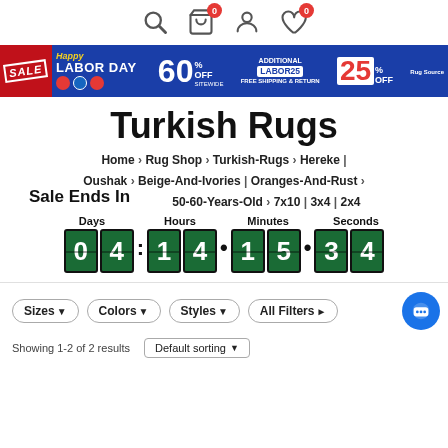Header icons: search, cart (0), user, wishlist (0)
[Figure (screenshot): Labor Day sale banner: SALE Happy LABOR DAY 60% off sitewide + ADDITIONAL 25% off coupon code LABOR25 free shipping & return, Rug Source logo]
Turkish Rugs
Home > Rug Shop > Turkish-Rugs > Hereke | Oushak > Beige-And-Ivories | Oranges-And-Rust > 50-60-Years-Old > 7x10 | 3x4 | 2x4
Sale Ends In
Days: 04  Hours: 14  Minutes: 15  Seconds: 34
Sizes  Colors  Styles  All Filters
Showing 1-2 of 2 results   Default sorting